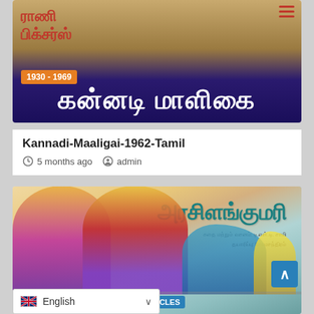[Figure (photo): Tamil movie poster for Kannadi Maaligai (1962) with Tamil script text in red and white on purple/gold background, with orange badge '1930 - 1969' and hamburger menu icon.]
Kannadi-Maaligai-1962-Tamil
5 months ago   admin
[Figure (photo): Tamil movie poster for Arasiling Kumari featuring actors in traditional costume, Tamil script title in teal, with badges '1930 - 1969' and 'FEATURED ARTICLES'.]
English  ∨